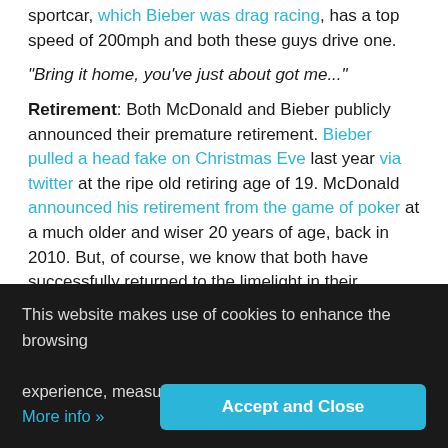sportcar, which Bieber was drag racing, has a top speed of 200mph and both these guys drive one.
"Bring it home, you've just about got me..."
Retirement: Both McDonald and Bieber publicly announced their premature retirement. Bieber pulled a head fake on Christmas Eve last year via twitter at the ripe old retiring age of 19. McDonald announced his retirement from the game of poker at a much older and wiser 20 years of age, back in 2010. But, of course, we know that both have successfully returned to the limelight in their separate professions: Timex at the PCA and Bieber with a DUI.
"Oh man, oh man...is this some sort of joke?"
This website makes use of cookies to enhance the browsing experience, measure traffic and serve relevant ads. More info »